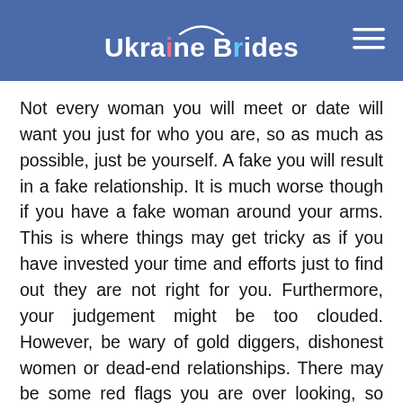Ukraine Brides
Not every woman you will meet or date will want you just for who you are, so as much as possible, just be yourself. A fake you will result in a fake relationship. It is much worse though if you have a fake woman around your arms. This is where things may get tricky as if you have invested your time and efforts just to find out they are not right for you. Furthermore, your judgement might be too clouded. However, be wary of gold diggers, dishonest women or dead-end relationships. There may be some red flags you are over looking, so don't forget to listen to some of your friends to help you screen ladies that may not be right for you.
5. Accept
Last, but not least, you will have to accept rejection. Alth may sound harsh, it is what it is. Even if you feel like rejection has